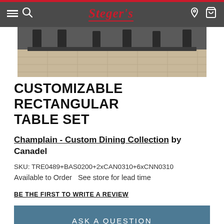[Figure (photo): Steger's furniture store website header with navigation bar (hamburger menu, search icon, Steger's logo, location icon, cart icon) and a partial product photo showing dark chairs around a dining table on a tiled floor.]
CUSTOMIZABLE RECTANGULAR TABLE SET
Champlain - Custom Dining Collection by Canadel
SKU: TRE0489+BAS0200+2xCAN0310+6xCNN0310
Available to Order  See store for lead time
BE THE FIRST TO WRITE A REVIEW
ASK A QUESTION
ADD TO A LIST